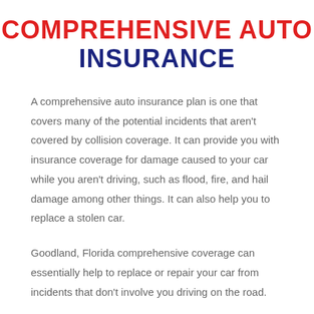COMPREHENSIVE AUTO INSURANCE
A comprehensive auto insurance plan is one that covers many of the potential incidents that aren't covered by collision coverage. It can provide you with insurance coverage for damage caused to your car while you aren't driving, such as flood, fire, and hail damage among other things. It can also help you to replace a stolen car.
Goodland, Florida comprehensive coverage can essentially help to replace or repair your car from incidents that don't involve you driving on the road.